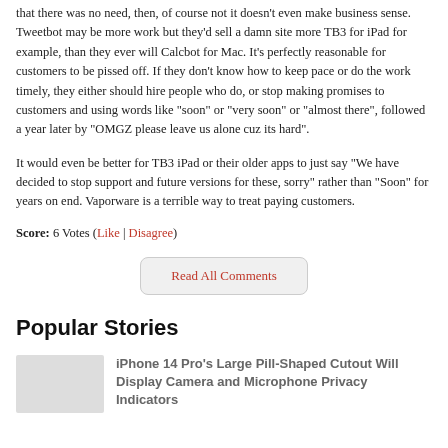that there was no need, then, of course not it doesn't even make business sense. Tweetbot may be more work but they'd sell a damn site more TB3 for iPad for example, than they ever will Calcbot for Mac. It's perfectly reasonable for customers to be pissed off. If they don't know how to keep pace or do the work timely, they either should hire people who do, or stop making promises to customers and using words like "soon" or "very soon" or "almost there", followed a year later by "OMGZ please leave us alone cuz its hard".
It would even be better for TB3 iPad or their older apps to just say "We have decided to stop support and future versions for these, sorry" rather than "Soon" for years on end. Vaporware is a terrible way to treat paying customers.
Score: 6 Votes (Like | Disagree)
Read All Comments
Popular Stories
iPhone 14 Pro's Large Pill-Shaped Cutout Will Display Camera and Microphone Privacy Indicators